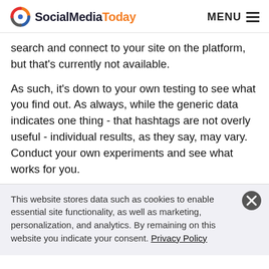SocialMediaToday MENU
search and connect to your site on the platform, but that's currently not available.
As such, it's down to your own testing to see what you find out. As always, while the generic data indicates one thing - that hashtags are not overly useful - individual results, as they say, may vary. Conduct your own experiments and see what works for you.
This website stores data such as cookies to enable essential site functionality, as well as marketing, personalization, and analytics. By remaining on this website you indicate your consent. Privacy Policy